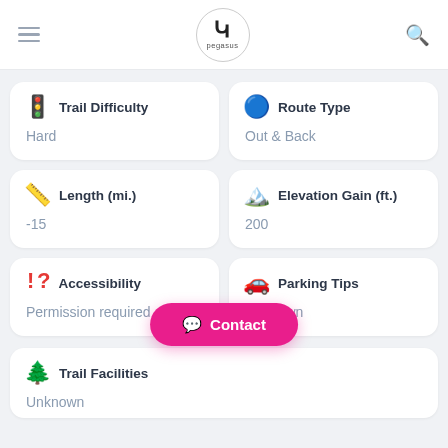[Figure (screenshot): App header with hamburger menu, Pegasus logo in circle, and search icon]
Trail Difficulty
Hard
Route Type
Out & Back
Length (mi.)
-15
Elevation Gain (ft.)
200
Accessibility
Permission required
Parking Tips
Unknown
Contact
Trail Facilities
Unknown